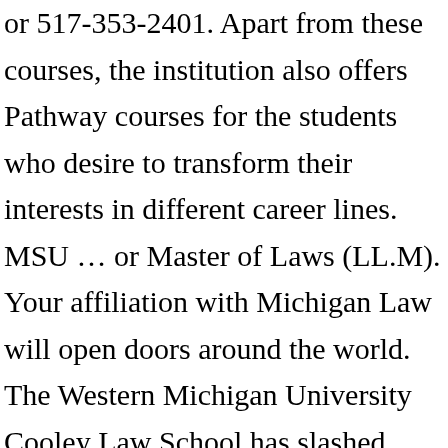or 517-353-2401. Apart from these courses, the institution also offers Pathway courses for the students who desire to transform their interests in different career lines. MSU … or Master of Laws (LL.M). Your affiliation with Michigan Law will open doors around the world. The Western Michigan University Cooley Law School has slashed tuition from the current rate of $1,750 per credit hour to $1,375 per credit hour. { Tuition will be cut to $1,375 per credit hour from $1,750. Review more information about the MSU Student